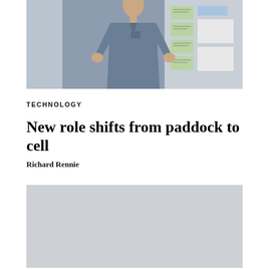[Figure (photo): Person standing in front of a poster board display, wearing a blue/grey shirt. Background shows colorful notes and diagrams on boards.]
TECHNOLOGY
New role shifts from paddock to cell
Richard Rennie
[Figure (photo): Second photo, partially visible, grey/light colored background area.]